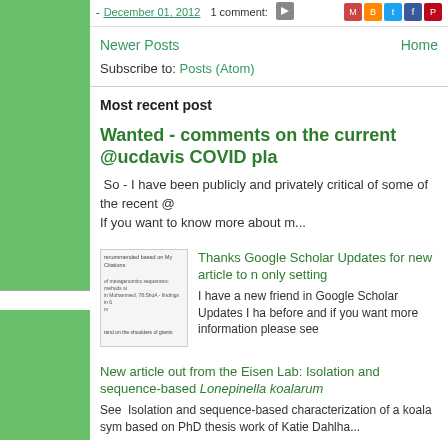- December 01, 2012   1 comment:
Newer Posts    Home
Subscribe to: Posts (Atom)
Most recent post
Wanted - comments on the current @ucdavis COVID pla
So - I have been publicly and privately critical of some of the recent @
If you want to know more about m...
[Figure (screenshot): Thumbnail image of a Google Scholar Updates page showing recommended articles]
Thanks Google Scholar Updates for new article to m only setting
I have a new friend in Google Scholar Updates I ha before and if you want more information please see
New article out from the Eisen Lab: Isolation and sequence-based Lonepinella koalarum
See  Isolation and sequence-based characterization of a koala sym based on PhD thesis work of Katie Dahlha...
How to stop press release spam? Post embargoed PRs. Here's on